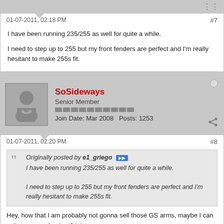01-07-2011, 02:18 PM   #7
I have been running 235/255 as well for quite a while.

I need to step up to 255 but my front fenders are perfect and I'm really hesitant to make 255s fit.
SoSideways
Senior Member
Join Date: Mar 2008   Posts: 1253
01-07-2011, 02:20 PM   #8
Originally posted by e1_griego
I have been running 235/255 as well for quite a while.

I need to step up to 255 but my front fenders are perfect and I'm really hesitant to make 255s fit.
Hey, how that I am probably not gonna sell those GS arms, maybe I can sell you some fenders? lol